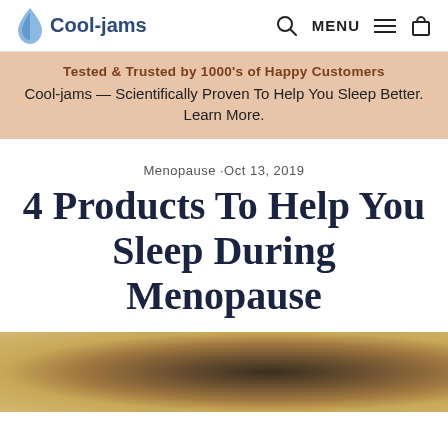Cool-jams | MENU
Tested & Trusted by 1000's of Happy Customers
Cool-jams — Scientifically Proven To Help You Sleep Better. Learn More.
Menopause · Oct 13, 2019
4 Products To Help You Sleep During Menopause
[Figure (photo): Blurred warm-toned photo, partial view of bedroom/sleep product]